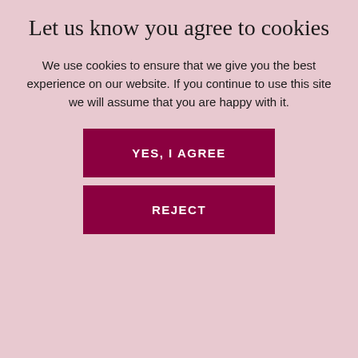Let us know you agree to cookies
We use cookies to ensure that we give you the best experience on our website. If you continue to use this site we will assume that you are happy with it.
YES, I AGREE
REJECT
SUBMIT
[Figure (photo): Two people facing away from each other, partially visible from behind, with curly and straight hair respectively, against a light blue-grey background]
[Figure (logo): reCAPTCHA badge with recycling-style arrow icon and Privacy/Terms text]